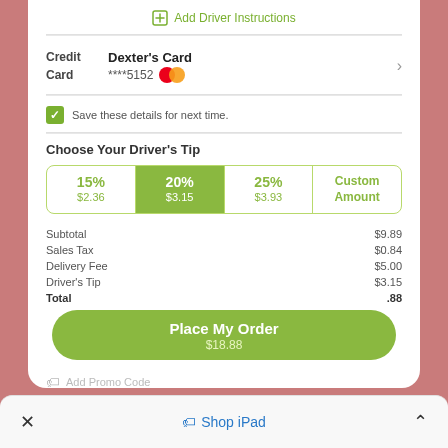[Figure (screenshot): Mobile app checkout screen showing driver tip selection, credit card info (Dexter's Card ****5152), save details checkbox, tip options (15%/$2.36, 20%/$3.15 selected, 25%/$3.93, Custom Amount), order summary (Subtotal $9.89, Sales Tax $0.84, Delivery Fee $5.00, Driver's Tip $3.15, Total $18.88), and Place My Order $18.88 button]
Add Driver Instructions
Credit Card
Dexter's Card ****5152
Save these details for next time.
Choose Your Driver's Tip
| Option | Amount |
| --- | --- |
| 15% | $2.36 |
| 20% (selected) | $3.15 |
| 25% | $3.93 |
| Custom Amount |  |
| Item | Amount |
| --- | --- |
| Subtotal | $9.89 |
| Sales Tax | $0.84 |
| Delivery Fee | $5.00 |
| Driver's Tip | $3.15 |
| Total | $18.88 |
Place My Order
$18.88
Add Promo Code
× Shop iPad ^